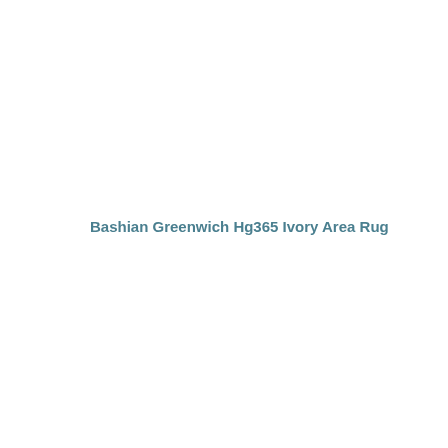Bashian Greenwich Hg365 Ivory Area Rug